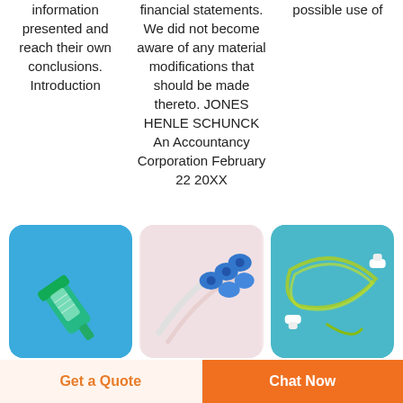information presented and reach their own conclusions. Introduction
financial statements. We did not become aware of any material modifications that should be made thereto. JONES HENLE SCHUNCK An Accountancy Corporation February 22 20XX
possible use of
[Figure (photo): Medical device - green syringe tip/connector on blue background]
[Figure (photo): Medical devices - blue caps/connectors on pink background]
[Figure (photo): Medical tubing/cables on teal/blue background]
Get a Quote
Chat Now